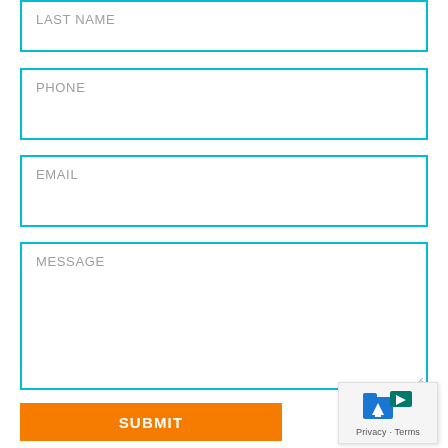LAST NAME
PHONE
EMAIL
MESSAGE
SUBMIT
Privacy · Terms